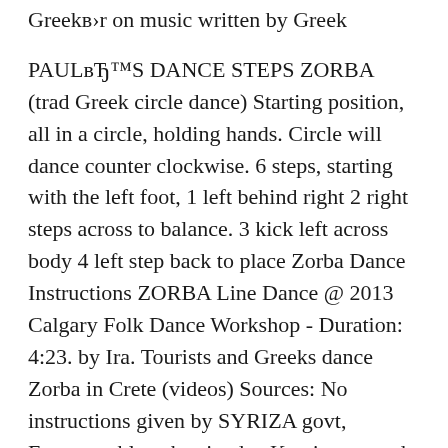Greekвb›r on music written by Greek
PAULвЂ™S DANCE STEPS ZORBA (trad Greek circle dance) Starting position, all in a circle, holding hands. Circle will dance counter clockwise. 6 steps, starting with the left foot, 1 left behind right 2 right steps across to balance. 3 kick left across body 4 left step back to place Zorba Dance Instructions ZORBA Line Dance @ 2013 Calgary Folk Dance Workshop - Duration: 4:23. by Ira. Tourists and Greeks dance Zorba in Crete (videos) Sources: No instructions given by SYRIZA govt, Eurozone bloc abstained -- Kotzias reacted after the vote. Learn the Greek Line Dance "Zorba" and come dance with us at the Bandra Wine Fest 15.